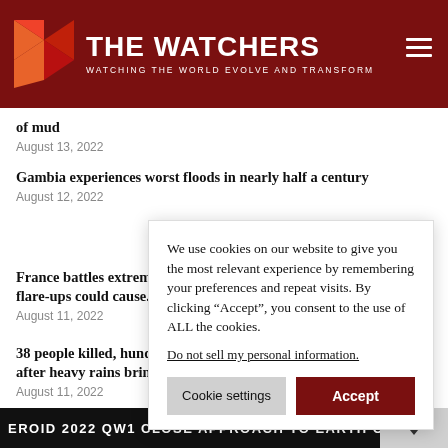THE WATCHERS — WATCHING THE WORLD EVOLVE AND TRANSFORM
of mud
August 13, 2022
Gambia experiences worst floods in nearly half a century
August 12, 2022
France battles extr... flare-ups could ca...
August 11, 2022
38 people killed, h... after heavy rains b...
August 11, 2022
We use cookies on our website to give you the most relevant experience by remembering your preferences and repeat visits. By clicking “Accept”, you consent to the use of ALL the cookies.
Do not sell my personal information.
Cookie settings  Accept
EROID 2022 QW1 CLOSE APPROACH TO EARTH ON SATURDAY